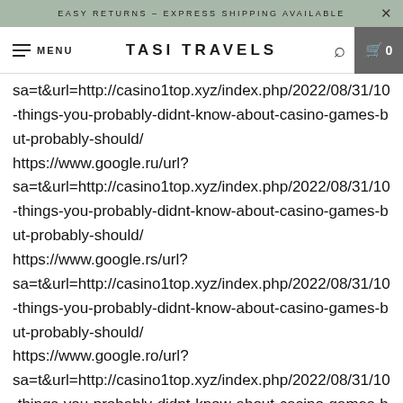EASY RETURNS - EXPRESS SHIPPING AVAILABLE
TASI TRAVELS
sa=t&url=http://casino1top.xyz/index.php/2022/08/31/10-things-you-probably-didnt-know-about-casino-games-but-probably-should/ https://www.google.ru/url? sa=t&url=http://casino1top.xyz/index.php/2022/08/31/10-things-you-probably-didnt-know-about-casino-games-but-probably-should/ https://www.google.rs/url? sa=t&url=http://casino1top.xyz/index.php/2022/08/31/10-things-you-probably-didnt-know-about-casino-games-but-probably-should/ https://www.google.ro/url? sa=t&url=http://casino1top.xyz/index.php/2022/08/31/10-things-you-probably-didnt-know-about-casino-games-but-probably-should/ https://www.google.pt/url?